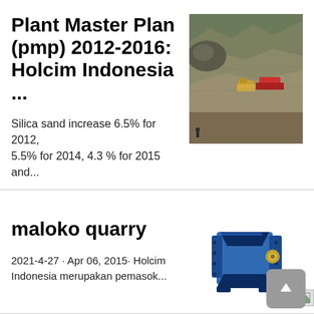Plant Master Plan (pmp) 2012-2016: Holcim Indonesia ...
[Figure (photo): Aerial photo of a quarry or mining site with heavy machinery and equipment visible on a rocky terrain.]
Silica sand increase 6.5% for 2012, 5.5% for 2014, 4.3 % for 2015 and...
maloko quarry
2021-4-27 · Apr 06, 2015· Holcim Indonesia merupakan pemasok...
[Figure (photo): Blue industrial crusher or jaw crusher machine.]